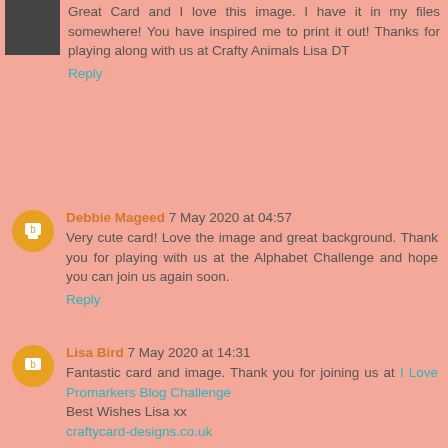Great Card and I love this image. I have it in my files somewhere! You have inspired me to print it out! Thanks for playing along with us at Crafty Animals Lisa DT
Reply
Debbie Mageed 7 May 2020 at 04:57
Very cute card! Love the image and great background. Thank you for playing with us at the Alphabet Challenge and hope you can join us again soon.
Reply
Lisa Bird 7 May 2020 at 14:31
Fantastic card and image. Thank you for joining us at I Love Promarkers Blog Challenge
Best Wishes Lisa xx
craftycard-designs.co.uk
Reply